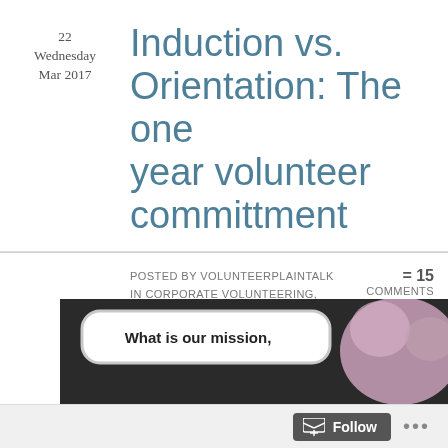22
Wednesday
Mar 2017
Induction vs. Orientation: The one year volunteer committment
Posted by volunteerplaintalk in corporate volunteering, NGO, non-profit, organizations, part time volunteer manager, prospective volunteer, recruitment, treatment of volunteers, Uncategorized, Volunteer, volunteer coordinator, volunteer management, volunteer recruitment, volunteer retention
= 15 Comments
[Figure (photo): Image with speech bubble text 'What is our mission,' and a pink fuzzy creature on the right side, dark background]
Follow ...